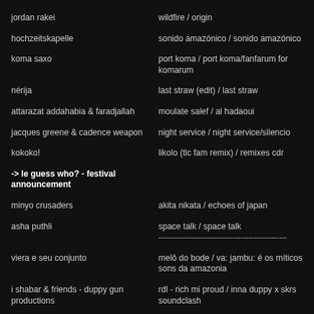jordan rakei | wildfire / origin
hochzeitskapelle | sonido amazónico / sonido amazónico
koma saxo | port koma / port koma/fanfarum for komarum
nérija | last straw (edit) / last straw
attarazat addahabia & faradjallah | moulate salef / al hadaoui
jacques greene & cadence weapon | night service / night service/silencio
kokoko! | likolo (tlc fam remix) / remixes cdr
-> le guess who? - festival announcement
minyo crusaders | akita nikata / echoes of japan
asha puthli | space talk / space talk
viera e seu conjunto | melô do bode / va: jambu: é os míticos sons da amazonia
i shabar & friends - duppy gun productions | rdl - rich mi proud / inna duppy x skrs soundclash